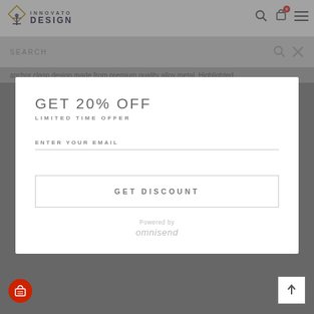INNOVATO DESIGN
anchor clasp design made from premium quality alloy metal. Highlighted
GET 20% OFF
LIMITED TIME OFFER
ENTER YOUR EMAIL
GET DISCOUNT
Powered by omnisend
[Figure (photo): Gecko/lizard charm chain bracelet product photo shown in background behind modal]